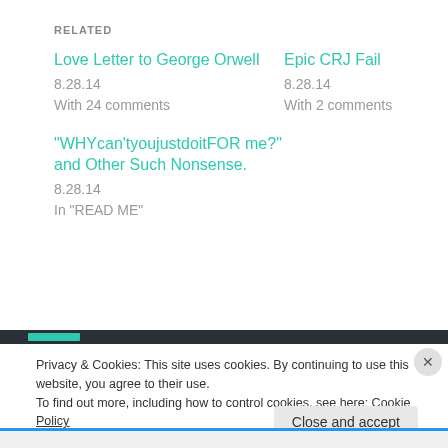RELATED
Love Letter to George Orwell
8.28.14
With 24 comments
Epic CRJ Fail
8.28.14
With 2 comments
"WHYcan'tyoujustdoitFOR me?" and Other Such Nonsense.
8.28.14
In "READ ME"
Privacy & Cookies: This site uses cookies. By continuing to use this website, you agree to their use.
To find out more, including how to control cookies, see here: Cookie Policy
Close and accept